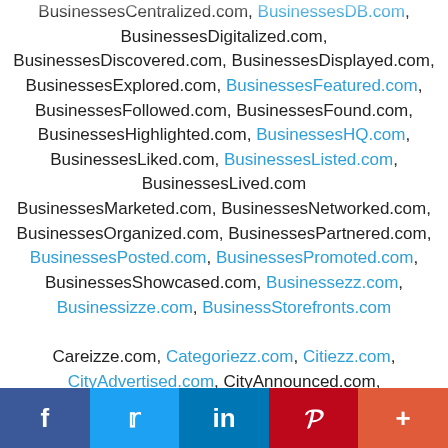BusinessesCentralized.com, BusinessesDB.com, BusinessesDigitalized.com, BusinessesDiscovered.com, BusinessesDisplayed.com, BusinessesExplored.com, BusinessesFeatured.com, BusinessesFollowed.com, BusinessesFound.com, BusinessesHighlighted.com, BusinessesHQ.com, BusinessesLiked.com, BusinessesListed.com, BusinessesLived.com BusinessesMarketed.com, BusinessesNetworked.com, BusinessesOrganized.com, BusinessesPartnered.com, BusinessesPosted.com, BusinessesPromoted.com, BusinessesShowcased.com, Businessezz.com, Businessizze.com, BusinessStorefronts.com
Careizze.com, Categoriezz.com, Citiezz.com, CityAdvertised.com, CityAnnounced.com, CityBrowsed.com, CityBundled.com,
f  t  in  P  +